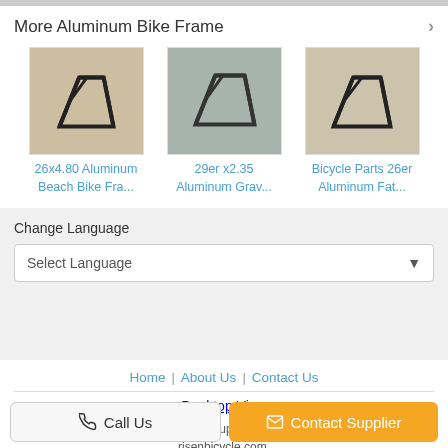More Aluminum Bike Frame
[Figure (photo): 26x4.80 Aluminum Beach Bike Frame product photo]
[Figure (photo): 29er x2.35 Aluminum Gravel bike frame product photo]
[Figure (photo): Bicycle Parts 26er Aluminum Fat bike frame product photo]
26x4.80 Aluminum Beach Bike Fra...
29er x2.35 Aluminum Grav...
Bicycle Parts 26er Aluminum Fat...
Change Language
Select Language
Home | About Us | Contact Us
Desktop View
China Aluminum Bike Frame Supplier. Copyright © 2016 - 2022 risenbicycle.com. All rights reserved. Developed by ECER
Call Us
Contact Supplier